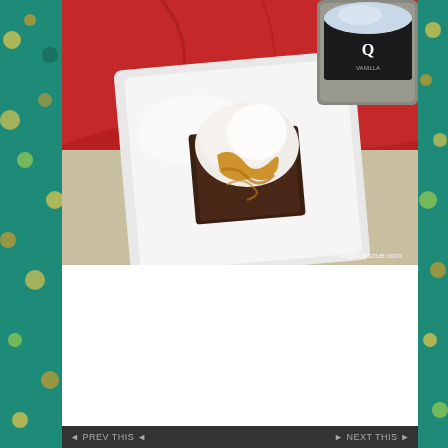[Figure (photo): Top-down photo of a brownie on a white square plate topped with whipped cream and caramel sauce, alongside a container of what appears to be vegan ice cream or yogurt, set against a red cloth background. Watermark reads veganrescue.com.]
Sponsored Content
Privacy & Cookies: This site uses cookies. By continuing to use this website, you agree to their use.
To find out more, including how to control cookies, see here: Cookie Policy